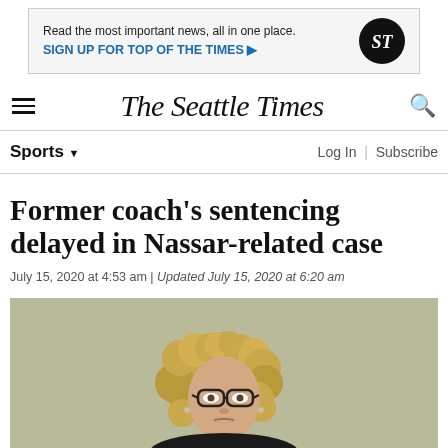[Figure (infographic): Advertisement banner: 'Read the most important news, all in one place. SIGN UP FOR TOP OF THE TIMES ▶' with Seattle Times circular logo]
The Seattle Times
Sports ▼
Log In | Subscribe
Former coach's sentencing delayed in Nassar-related case
July 15, 2020 at 4:53 am | Updated July 15, 2020 at 6:20 am
[Figure (photo): Photo of a woman with curly blonde hair and dark-rimmed glasses against a light olive/green background, shown from the shoulders up.]